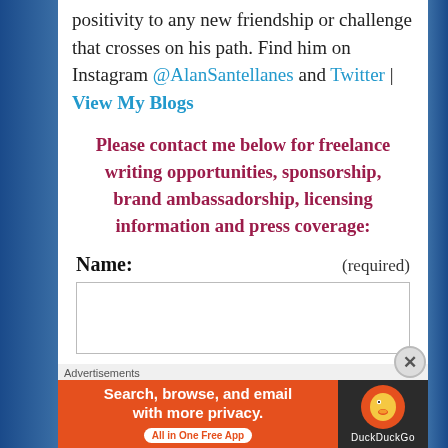positivity to any new friendship or challenge that crosses on his path. Find him on Instagram @AlanSantellanes and Twitter | View My Blogs
Please contact me below for freelance writing opportunities, sponsorship, brand ambassadorship, licensing information and press coverage:
Name: (required)
[Figure (other): Advertisement banner for DuckDuckGo: 'Search, browse, and email with more privacy. All in One Free App' with DuckDuckGo logo on dark background]